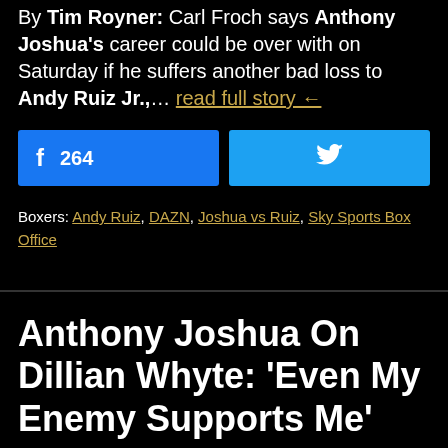By Tim Royner: Carl Froch says Anthony Joshua's career could be over with on Saturday if he suffers another bad loss to Andy Ruiz Jr.,… read full story ←
[Figure (other): Facebook share button showing count 264 and Twitter share button side by side]
Boxers: Andy Ruiz, DAZN, Joshua vs Ruiz, Sky Sports Box Office
Anthony Joshua On Dillian Whyte: 'Even My Enemy Supports Me'
December 6, 2019 | Comments are off for this